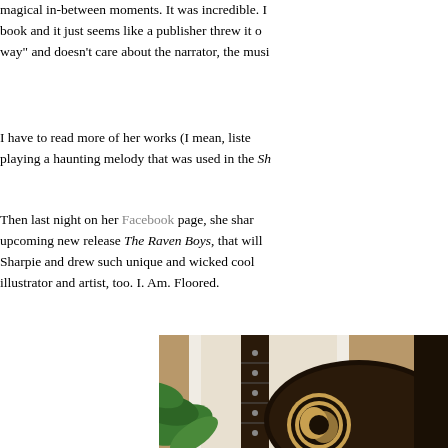magical in-between moments. It was incredible. I book and it just seems like a publisher threw it o way" and doesn't care about the narrator, the musi
I have to read more of her works (I mean, liste playing a haunting melody that was used in the Sh
Then last night on her Facebook page, she shar upcoming new release The Raven Boys, that will Sharpie and drew such unique and wicked cool illustrator and artist, too. I. Am. Floored.
[Figure (photo): Photo of an acoustic guitar with intricate engraved/decorated soundhole rosette, leaning against a white frame, with green plant leaves visible in the foreground, warm brown/tan background.]